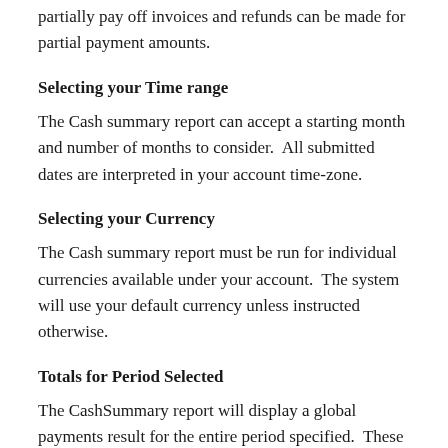partially pay off invoices and refunds can be made for partial payment amounts.
Selecting your Time range
The Cash summary report can accept a starting month and number of months to consider.  All submitted dates are interpreted in your account time-zone.
Selecting your Currency
The Cash summary report must be run for individual currencies available under your account.  The system will use your default currency unless instructed otherwise.
Totals for Period Selected
The CashSummary report will display a global payments result for the entire period specified.  These totals can be used to establish a scale for the interval result sets returned in the main Cash summary graph.  The average payment